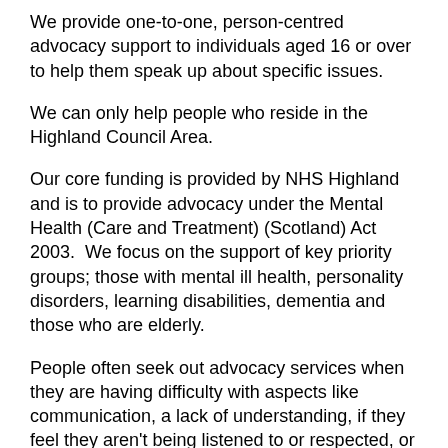We provide one-to-one, person-centred advocacy support to individuals aged 16 or over to help them speak up about specific issues.
We can only help people who reside in the Highland Council Area.
Our core funding is provided by NHS Highland and is to provide advocacy under the Mental Health (Care and Treatment) (Scotland) Act 2003.  We focus on the support of key priority groups; those with mental ill health, personality disorders, learning disabilities, dementia and those who are elderly.
People often seek out advocacy services when they are having difficulty with aspects like communication, a lack of understanding, if they feel they aren't being listened to or respected, or if they simply don't feel confident enough to speak up alone.
Our advocacy is independent, free and confidential. Our role is to support people to speak up for themselves to help